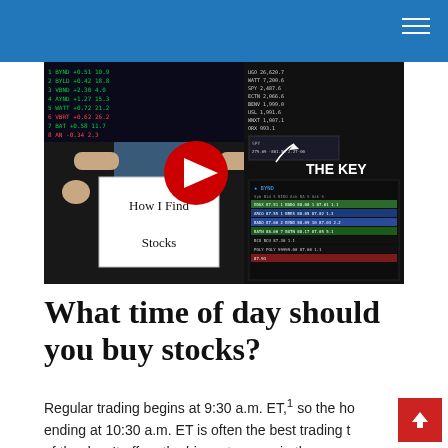[Figure (screenshot): YouTube video thumbnail showing a man holding a sign reading 'How I Find Stocks' with stock trading screens in background, a red YouTube play button, and text 'THE KEY' on the right side.]
What time of day should you buy stocks?
Regular trading begins at 9:30 a.m. ET,1 so the hour ending at 10:30 a.m. ET is often the best trading time of the day. It offers the biggest moves in the shortest amount of time. If you want another hour of trading,